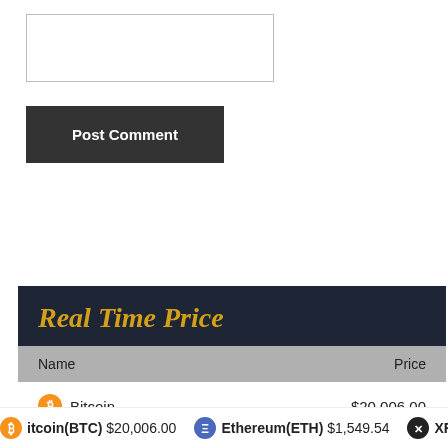[Figure (screenshot): Empty comment text area input box with border]
Post Comment
| Name | Price |
| --- | --- |
| Bitcoin | $20,006.00 |
| Ethereum | $1,549.54 |
Bitcoin(BTC) $20,006.00   Ethereum(ETH) $1,549.54   XRP(XRP...